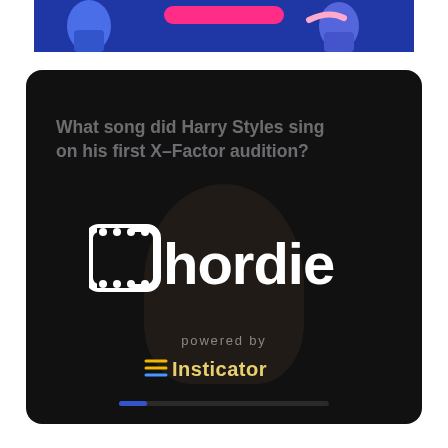[Figure (illustration): Partial top banner image showing illustrated characters on a blue/purple background with a pink bar element]
[Figure (screenshot): Dark rounded card widget with quiz question 'What song did Harry Styles sing on his first X-Factor audition?' and Chordie logo, powered by Insticator branding, and a loading progress bar at the bottom]
What song did Harry Styles sing on his first X-Factor audition?
Chordie
powered by
Insticator